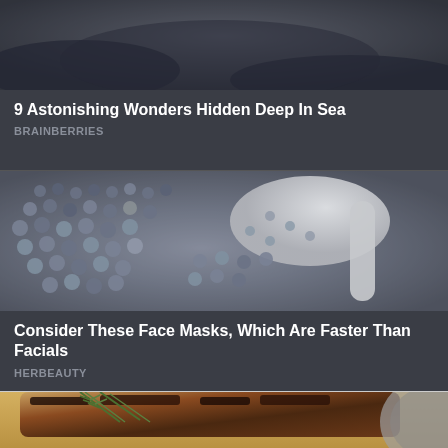[Figure (photo): Top portion of a dark underwater or sea-themed image, partially cropped at the top of the page]
9 Astonishing Wonders Hidden Deep In Sea
BRAINBERRIES
[Figure (photo): Close-up photo of grey/blue caviar beads on a white ceramic spoon]
Consider These Face Masks, Which Are Faster Than Facials
HERBEAUTY
[Figure (photo): Close-up photo of grilled or roasted meat (ribs or steak) with rosemary herb garnish on a wooden board]